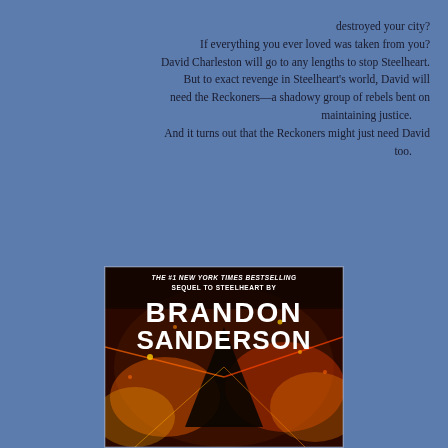destroyed your city?
If everything you ever loved was taken from you?
David Charleston will go to any lengths to stop Steelheart.
But to exact revenge in Steelheart's world, David will need the Reckoners—a shadowy group of rebels bent on maintaining justice.
And it turns out that the Reckoners might just need David too.
[Figure (photo): Book cover showing 'The #1 New York Times Bestselling Sequel to Steelheart by Brandon Sanderson' with dramatic illustrated artwork of a dark figure amid explosions and fire]